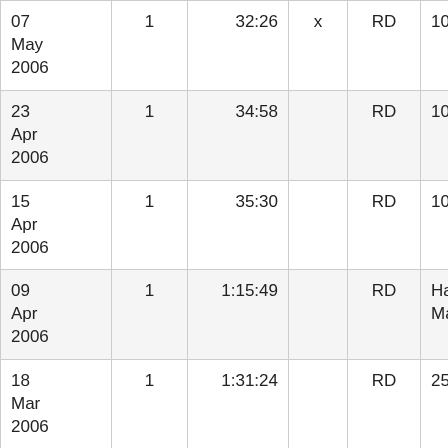| Date | # | Time |  | Type | Distance | Name |
| --- | --- | --- | --- | --- | --- | --- |
| 07 May 2006 | 1 | 32:26 | x | RD | 10 km | B… |
| 23 Apr 2006 | 1 | 34:58 |  | RD | 10 km | N… |
| 15 Apr 2006 | 1 | 35:30 |  | RD | 10 km | S… B… |
| 09 Apr 2006 | 1 | 1:15:49 |  | RD | Half Mara | S… B… |
| 18 Mar 2006 | 1 | 1:31:24 |  | RD | 25 km | A… |
| 12 Feb 2006 | 1 | 34:55 |  | RD | 10 km | C… F… |